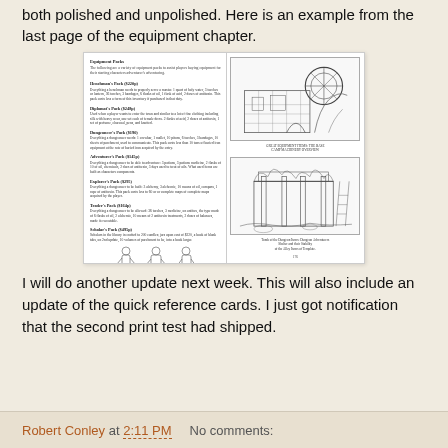both polished and unpolished. Here is an example from the last page of the equipment chapter.
[Figure (screenshot): A two-page spread from a tabletop RPG rulebook showing equipment packs on the left page with small text entries for various packs (Henchman's Pack, Diplomat's Pack, Dungeoneer's Pack, Adventurer's Pack, Explorer's Pack, Trader's Pack, Scholar's Pack) and illustrations of fantasy structures and figurines on the right page. Captions reference dungeons and character illustrations.]
I will do another update next week. This will also include an update of the quick reference cards. I just got notification that the second print test had shipped.
Robert Conley at 2:11 PM   No comments: